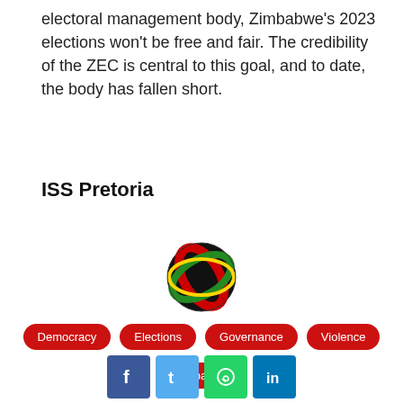electoral management body, Zimbabwe's 2023 elections won't be free and fair. The credibility of the ZEC is central to this goal, and to date, the body has fallen short.
ISS Pretoria
[Figure (logo): ISS (Institute for Security Studies) spherical logo in black, red, green, and yellow colours]
Democracy
Elections
Governance
Violence
Zimbabwe
[Figure (infographic): Social media share buttons: Facebook, Twitter, WhatsApp, LinkedIn]